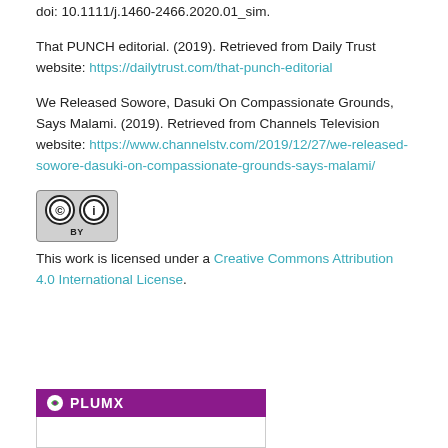doi: 10.1111/j.1460-2466.2020.01_sim.
That PUNCH editorial. (2019). Retrieved from Daily Trust website: https://dailytrust.com/that-punch-editorial
We Released Sowore, Dasuki On Compassionate Grounds, Says Malami. (2019). Retrieved from Channels Television website: https://www.channelstv.com/2019/12/27/we-released-sowore-dasuki-on-compassionate-grounds-says-malami/
[Figure (logo): Creative Commons CC BY license badge]
This work is licensed under a Creative Commons Attribution 4.0 International License.
[Figure (logo): PlumX metrics widget header showing purple PlumX logo]